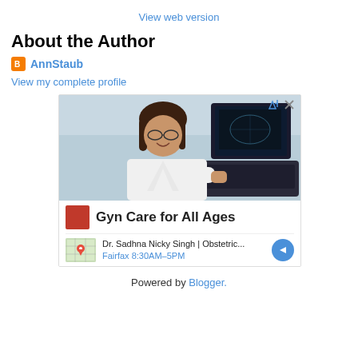View web version
About the Author
AnnStaub
View my complete profile
[Figure (photo): Advertisement featuring a female doctor in a white coat smiling at an ultrasound machine. Ad text: Gyn Care for All Ages. Dr. Sadhna Nicky Singh | Obstetric... Fairfax 8:30AM-5PM]
Powered by Blogger.